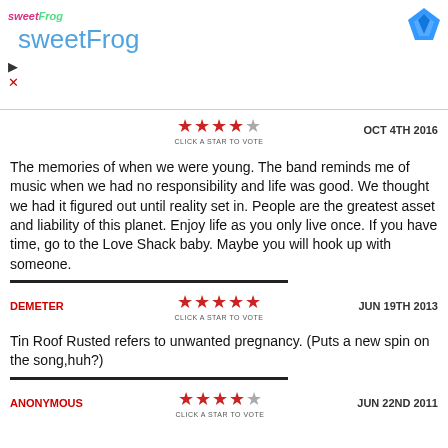[Figure (logo): sweetFrog advertisement banner with logo, title text, play/close controls, and blue diamond icon]
[Figure (other): 4 out of 5 stars rating with CLICK A STAR TO VOTE label, OCT 4TH 2016 date]
The memories of when we were young. The band reminds me of music when we had no responsibility and life was good. We thought we had it figured out until reality set in. People are the greatest asset and liability of this planet. Enjoy life as you only live once. If you have time, go to the Love Shack baby. Maybe you will hook up with someone.
DEMETER
[Figure (other): 4.5 out of 5 stars rating with CLICK A STAR TO VOTE label, JUN 19TH 2013 date]
Tin Roof Rusted refers to unwanted pregnancy. (Puts a new spin on the song,huh?)
ANONYMOUS
[Figure (other): 3.5 out of 5 stars rating with CLICK A STAR TO VOTE label, JUN 22ND 2011 date]